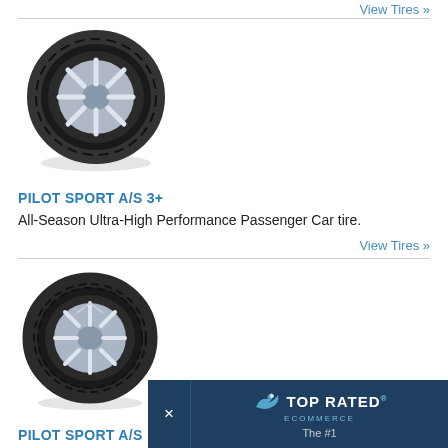View Tires »
[Figure (photo): Michelin Pilot Sport A/S 3+ tire product photo, angled view showing tread and alloy wheel]
PILOT SPORT A/S 3+
All-Season Ultra-High Performance Passenger Car tire.
View Tires »
[Figure (photo): Michelin Pilot Sport A/S tire product photo, angled view showing tread and alloy wheel]
PILOT SPORT A/S
[Figure (logo): Top Rated Ecommerce badge with bird logo and text 'The #1']